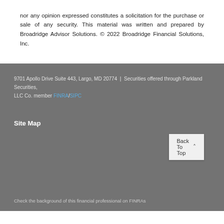nor any opinion expressed constitutes a solicitation for the purchase or sale of any security. This material was written and prepared by Broadridge Advisor Solutions. © 2022 Broadridge Financial Solutions, Inc.
9701 Apollo Drive Suite 443, Largo, MD 20774 | Securities offered through Parkland Securities, LLC Co. member FINRA/SIPC
Site Map
Back To Top
Check the background of this financial professional on FINRAs